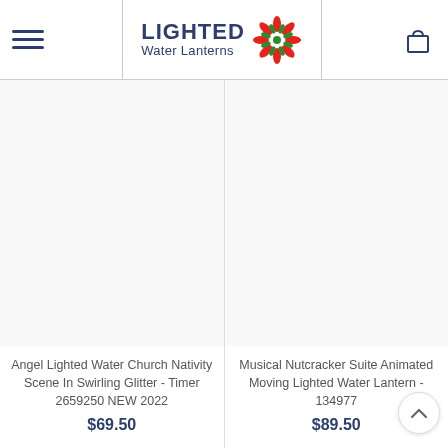LIGHTED Water Lanterns
[Figure (other): Product image placeholder for Angel Lighted Water Church Nativity Scene]
Angel Lighted Water Church Nativity Scene In Swirling Glitter - Timer 2659250 NEW 2022
$69.50
[Figure (other): Product image placeholder for Musical Nutcracker Suite Animated Moving Lighted Water Lantern]
Musical Nutcracker Suite Animated Moving Lighted Water Lantern - 134977
$89.50